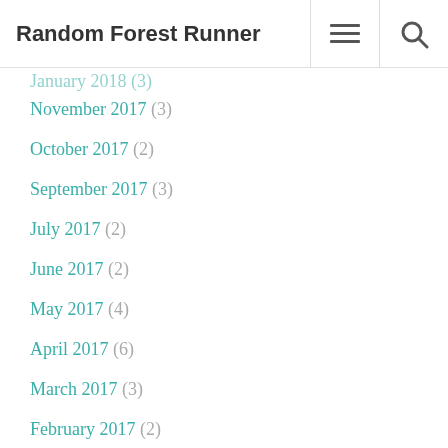Random Forest Runner
November 2017 (3)
October 2017 (2)
September 2017 (3)
July 2017 (2)
June 2017 (2)
May 2017 (4)
April 2017 (6)
March 2017 (3)
February 2017 (2)
December 2016 (1)
November 2016 (2)
October 2016 (1)